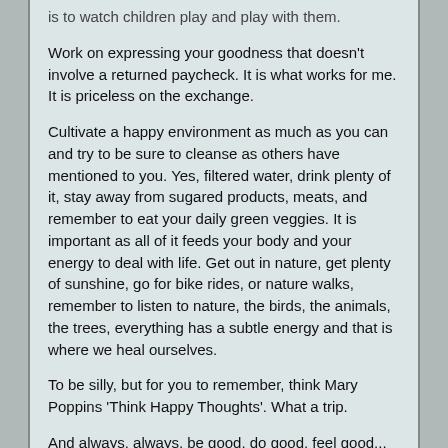is to watch children play and play with them.
Work on expressing your goodness that doesn't involve a returned paycheck. It is what works for me. It is priceless on the exchange.
Cultivate a happy environment as much as you can and try to be sure to cleanse as others have mentioned to you. Yes, filtered water, drink plenty of it, stay away from sugared products, meats, and remember to eat your daily green veggies. It is important as all of it feeds your body and your energy to deal with life. Get out in nature, get plenty of sunshine, go for bike rides, or nature walks, remember to listen to nature, the birds, the animals, the trees, everything has a subtle energy and that is where we heal ourselves.
To be silly, but for you to remember, think Mary Poppins 'Think Happy Thoughts'. What a trip.
And always, always, be good, do good, feel good... And may you sense the energy lift to another level of constant elation.
Peace be with you,
Joani